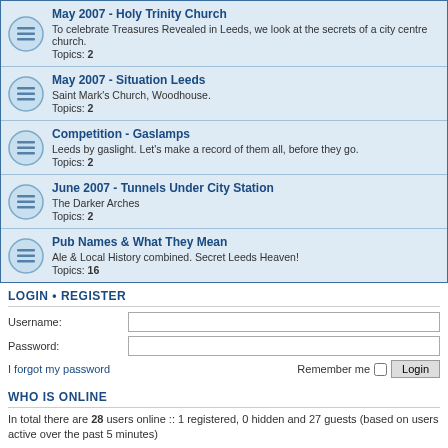May 2007 - Holy Trinity Church
To celebrate Treasures Revealed in Leeds, we look at the secrets of a city centre church.
Topics: 2
May 2007 - Situation Leeds
Saint Mark's Church, Woodhouse.
Topics: 2
Competition - Gaslamps
Leeds by gaslight. Let's make a record of them all, before they go.
Topics: 2
June 2007 - Tunnels Under City Station
The Darker Arches
Topics: 2
Pub Names & What They Mean
Ale & Local History combined. Secret Leeds Heaven!
Topics: 16
LOGIN • REGISTER
Username:
Password:
I forgot my password
Remember me
WHO IS ONLINE
In total there are 28 users online :: 1 registered, 0 hidden and 27 guests (based on users active over the past 5 minutes)